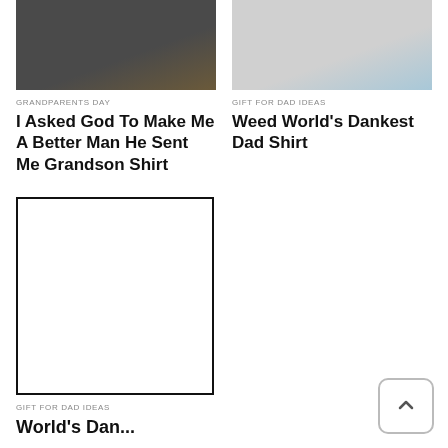[Figure (photo): Person wearing black shirt, dark background]
GRANDPARENTS DAY
I Asked God To Make Me A Better Man He Sent Me Grandson Shirt
[Figure (photo): Person wearing white t-shirt, light background]
GIFT FOR DAD IDEAS
Weed World's Dankest Dad Shirt
[Figure (photo): Empty white box outline placeholder image]
GIFT FOR DAD IDEAS
World's Dan...